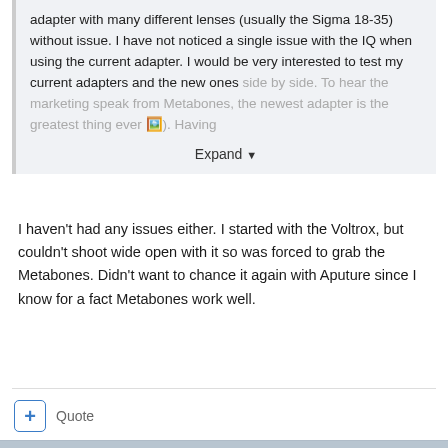adapter with many different lenses (usually the Sigma 18-35) without issue. I have not noticed a single issue with the IQ when using the current adapter. I would be very interested to test my current adapters and the new ones side by side. To hear the marketing speak from Metabones, the newest adapter is the greatest thing ever [image]. Having
Expand
I haven't had any issues either. I started with the Voltrox, but couldn't shoot wide open with it so was forced to grab the Metabones. Didn't want to chance it again with Aputure since I know for a fact Metabones work well.
Quote
Kisaha
Posted July 31, 2019